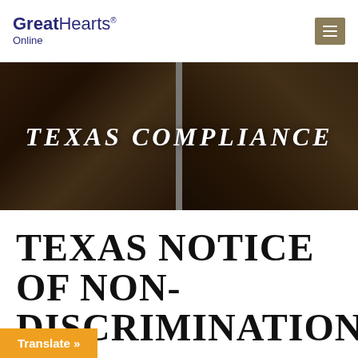Great Hearts Online
[Figure (photo): Hero banner with dark overlay showing books in background, with 'TEXAS COMPLIANCE' text centered in white italic serif font]
TEXAS NOTICE OF NON-DISCRIMINATION
Translate »